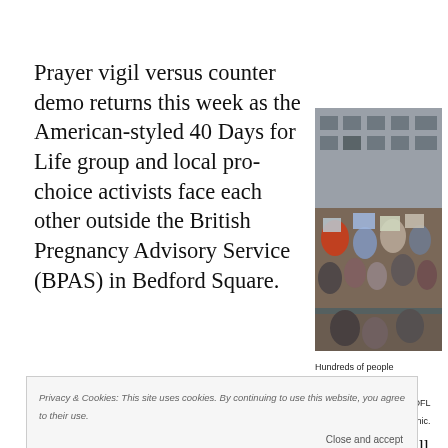Prayer vigil versus counter demo returns this week as the American-styled 40 Days for Life group and local pro-choice activists face each other outside the British Pregnancy Advisory Service (BPAS) in Bedford Square.
[Figure (photo): Crowd of protesters holding signs at a demonstration in a square, with a Georgian brick building in the background. People are raising banners and placards.]
Hundreds of people demonstrated in Bedford Square last year after 40DFL filmed women entering clinic.
Privacy & Cookies: This site uses cookies. By continuing to use this website, you agree to their use.
During the course of Lent, Bloomsbury Pro-Choice will be holding a counter-campaign, beginning with Carnival of Choice 7pm on Tuesday 12 February to